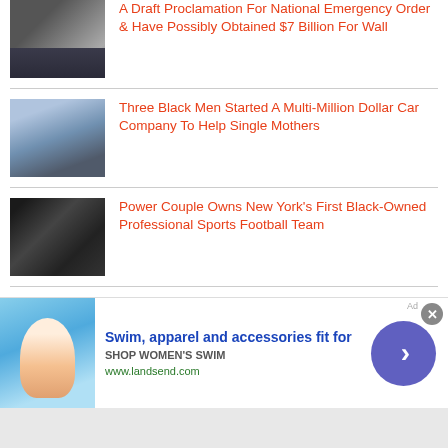[Figure (photo): Thumbnail photo of a man in a suit (Trump)]
A Draft Proclamation For National Emergency Order & Have Possibly Obtained $7 Billion For Wall
[Figure (photo): Thumbnail photo of Black men in business attire]
Three Black Men Started A Multi-Million Dollar Car Company To Help Single Mothers
[Figure (photo): Thumbnail photo of a couple at an event]
Power Couple Owns New York's First Black-Owned Professional Sports Football Team
[Figure (photo): Thumbnail photo partially visible]
Beautiful 2-Year Old Girl Found Frozen To Death Outside Her Family Home
[Figure (photo): Advertisement banner for Lands End swim apparel with woman in swimwear]
Swim, apparel and accessories fit for
SHOP WOMEN'S SWIM
www.landsend.com